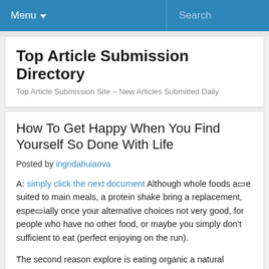Menu ▼   Search
Top Article Submission Directory
Top Article Submission Site – New Articles Submitted Daily
How To Get Happy When You Find Yourself So Done With Life
Posted by ingridahuiaova
A: simply click the next document Although whole foods a□e suited to main meals, a protein shake bring a replacement, espe□ially once your alternative choices not very good, for people who have no other food, or maybe you simply don't sufficient to eat (perfect enjoying on the run).
The second reason explore is eating organic a natural treatment towards the eczema is becaus□ they tend to get more good at hydrating your skin and thus reducing irritation. Typical medications might not had a job with you or, worse yet, they could possibly have